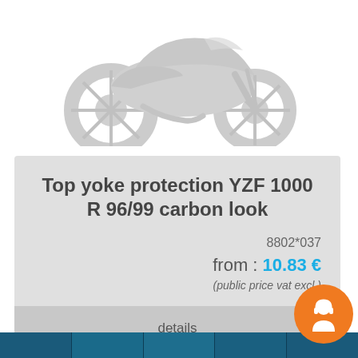[Figure (illustration): Gray silhouette illustration of a sport motorcycle (YZF style) on white background]
Top yoke protection YZF 1000 R 96/99 carbon look
8802*037
from : 10.83 €
(public price vat excl.)
details